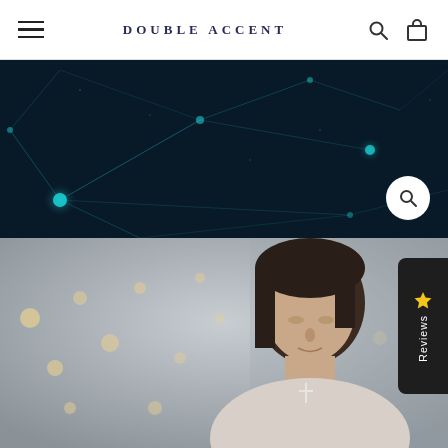DOUBLE ACCENT
[Figure (screenshot): Website screenshot of Double Accent jewelry brand. Top navigation bar with hamburger menu on the left, 'DOUBLE ACCENT' brand name centered, search and shopping bag icons on the right. Below is a dark background image with blue neural network / node pattern. A circular white search button overlay is visible at bottom-right of the dark image. Below that is a photo of a young woman wearing a cross necklace, looking down, with bokeh lights in the background. A dark 'Reviews' tab with a star icon is positioned on the right side.]